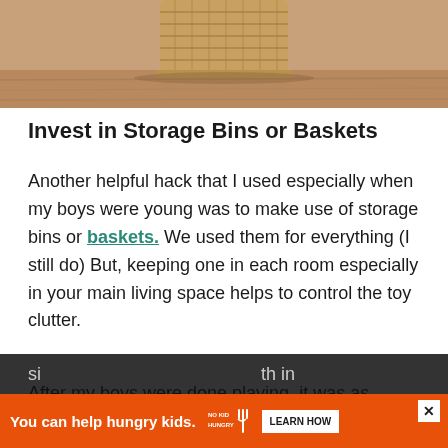[Figure (photo): Photo of a wicker basket on a wooden surface, cropped to show just the bottom portion of the basket]
Invest in Storage Bins or Baskets
Another helpful hack that I used especially when my boys were young was to make use of storage bins or baskets. We used them for everything (I still do) But, keeping one in each room especially in your main living space helps to control the toy clutter.
After my boys were done playing, it was as si...them, in
[Figure (other): Advertisement banner: orange background with text 'You can help hungry kids.' with No Kid Hungry logo and 'LEARN HOW' button]